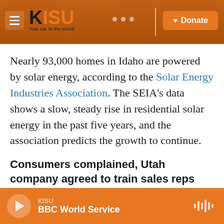[Figure (screenshot): KISU radio website header with logo, navigation dots, divider, and orange Donate button on a warm brown/orange background]
Nearly 93,000 homes in Idaho are powered by solar energy, according to the Solar Energy Industries Association. The SEIA's data shows a slow, steady rise in residential solar energy in the past five years, and the association predicts the growth to continue.
Consumers complained, Utah company agreed to train sales reps
The attorney general's office provided the Idaho Capital Sun a spreadsheet of 16 complaints filed in the past year against nine different companies.
KISU — BBC World Service (player bar)